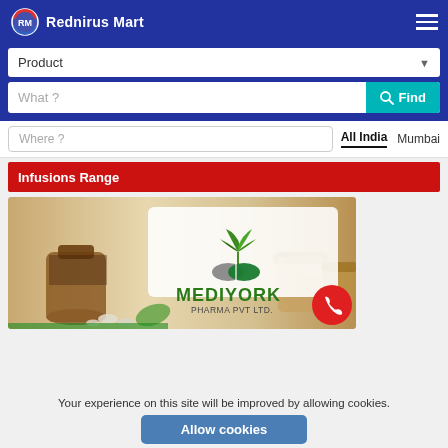Rednirus Mart
Product
What ?
Where ? | All India | Mumbai
Infusions Range
[Figure (logo): Mediyork Pharma Pvt Ltd logo with plant and capsule graphic over a pharma product background image]
Your experience on this site will be improved by allowing cookies.
Allow cookies